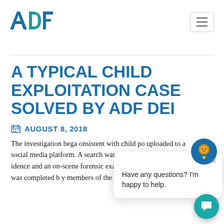[Figure (logo): ADF logo — stylized teal and dark-blue letters 'ADF']
A TYPICAL CHILD EXPLOITATION CASE SOLVED BY ADF DEI
AUGUST 8, 2018
The investigation bega onsistent with child po uploaded to a social media platform. A search warrant was executed at the residence and an on-scene forensic exam of all electronic media was completed by members of the State Police Comput
[Figure (screenshot): Chat widget popup with mascot lion character. Text: Have any questions? I'm happy to help.]